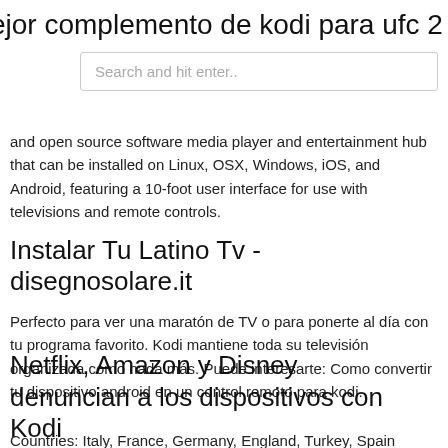ejor complemento de kodi para ufc 2
[Figure (other): Search input box with placeholder text 'Search and hit enter..']
and open source software media player and entertainment hub that can be installed on Linux, OSX, Windows, iOS, and Android, featuring a 10-foot user interface for use with televisions and remote controls.
Instalar Tu Latino Tv - disegnosolare.it
Perfecto para ver una maratón de TV o para ponerte al día con tu programa favorito. Kodi mantiene toda su televisión organizada como nada más. Puede interesarte: Como convertir tu dispositivo android en un control remoto para kodi.
Netflix, Amazon y Disney denuncian a los dispositivos con Kodi
Countries: Italy, France, Germany, England, Turkey, Spain